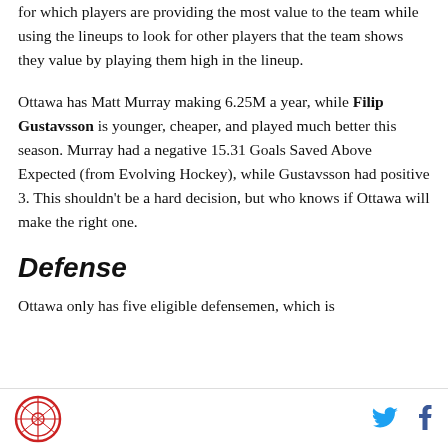for which players are providing the most value to the team while using the lineups to look for other players that the team shows they value by playing them high in the lineup.
Ottawa has Matt Murray making 6.25M a year, while Filip Gustavsson is younger, cheaper, and played much better this season. Murray had a negative 15.31 Goals Saved Above Expected (from Evolving Hockey), while Gustavsson had positive 3. This shouldn't be a hard decision, but who knows if Ottawa will make the right one.
Defense
Ottawa only has five eligible defensemen, which is